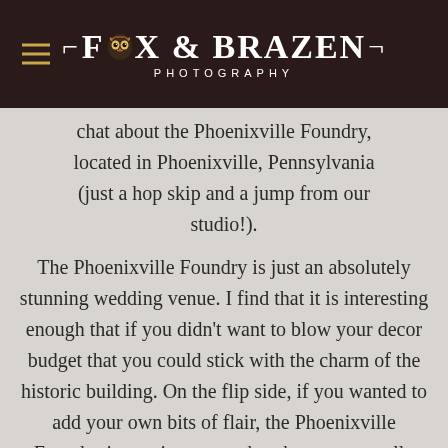FOX & BRAZEN PHOTOGRAPHY
chat about the Phoenixville Foundry, located in Phoenixville, Pennsylvania (just a hop skip and a jump from our studio!).
The Phoenixville Foundry is just an absolutely stunning wedding venue. I find that it is interesting enough that if you didn't want to blow your decor budget that you could stick with the charm of the historic building. On the flip side, if you wanted to add your own bits of flair, the Phoenixville Foundry is spacious enough to host some really unique setups.